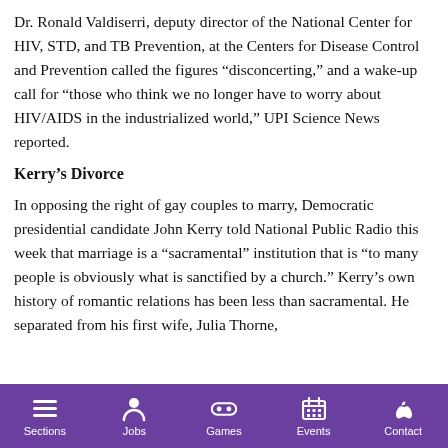Dr. Ronald Valdiserri, deputy director of the National Center for HIV, STD, and TB Prevention, at the Centers for Disease Control and Prevention called the figures “disconcerting,” and a wake-up call for “those who think we no longer have to worry about HIV/AIDS in the industrialized world,” UPI Science News reported.
Kerry’s Divorce
In opposing the right of gay couples to marry, Democratic presidential candidate John Kerry told National Public Radio this week that marriage is a “sacramental” institution that is “to many people is obviously what is sanctified by a church.” Kerry’s own history of romantic relations has been less than sacramental. He separated from his first wife, Julia Thorne,
[Figure (other): Mobile navigation bar with purple background containing icons and labels for Sections, Jobs, Games, Events, Contact]